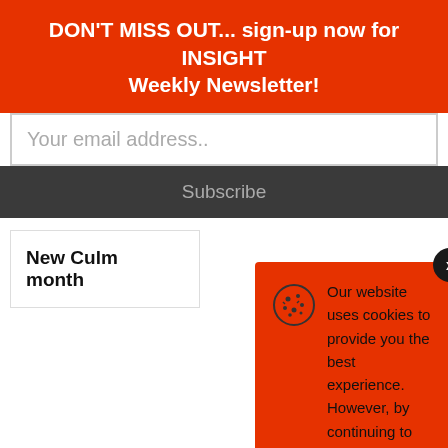DON'T MISS OUT... sign-up now for INSIGHT Weekly Newsletter!
Your email address..
Subscribe
New Culm month
Our website uses cookies to provide you the best experience. However, by continuing to use our website, you agree to our use of cookies. For more information, read our Cookie Policy.
Accept